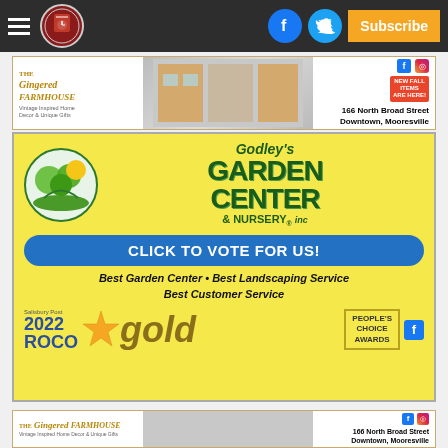Navigation bar with hamburger menu, clock logo, Facebook icon, Twitter icon, Subscribe button
[Figure (advertisement): The Gingered Farmhouse ad - Vintage Inspired Home Decor & Unique Gifts, 166 North Broad Street, Downtown, Mooresville]
[Figure (advertisement): Godley's Garden Center & Nursery Inc. - Click to Vote For Us! Best Garden Center, Best Landscaping Service, Best Customer Service. Salisbury Post 2022 ROCO gold People's Choice Awards]
The N.C. Department of Health and Human Services...
[Figure (advertisement): The Gingered Farmhouse ad - Vintage Inspired Home Decor & Unique Gifts, 166 North Broad Street, Downtown, Mooresville (bottom repeat)]